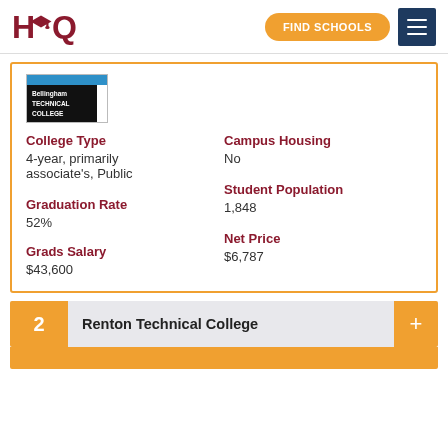HQ | FIND SCHOOLS
[Figure (logo): Bellingham Technical College logo — blue bar on top, white text on black background reading 'Bellingham TECHNICAL COLLEGE']
College Type
4-year, primarily associate's, Public
Campus Housing
No
Student Population
1,848
Graduation Rate
52%
Net Price
$6,787
Grads Salary
$43,600
2   Renton Technical College